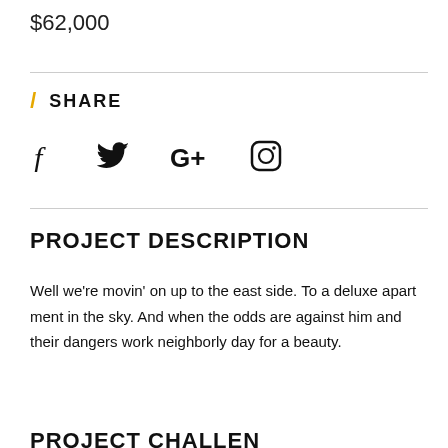$62,000
\ SHARE
[Figure (other): Social media icons: Facebook (f), Twitter (bird), Google+ (G+), Instagram (camera)]
PROJECT DESCRIPTION
Well we're movin' on up to the east side. To a deluxe apart ment in the sky. And when the odds are against him and their dangers work neighborly day for a beauty.
PROJECT CHALLENGE